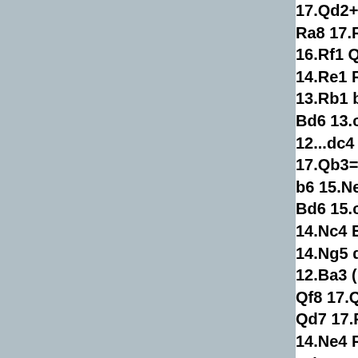17.Qd2+=; 12.Re1 b5 Ra8 17.Ra3-/+) 12...B 16.Rf1 Qe6 17.Qc2=; 14.Re1 Rad8 15.Ngf3 13.Rb1 b6 14.Ng5 Bd Bd6 13.c4 Rad8 14.B1 12...dc4 13.Nc4 Bd5 1 17.Qb3=; C3) 11...Rab b6 15.Ne5 Ne5 16.Be5 Bd6 15.c4 dc4 16.dc4 14.Nc4 Bb4 15.Nfd2 b 14.Ng5 dc4 15.Nc4 B 12.Ba3 (12.Rb1 b5 13 Qf8 17.Qa1+=) 12...Qa Qd7 17.Rb1=; D) 11.a 14.Ne4 Rac8 15.Nfg5 Bd6 13.Qd2 Rad8 14. 12.Ra2 Rad8 13.Nb3 b 17.Bh5=; 12.Re1 Rad Nh6 17.e4=) 12...b5 1 Ne5 17.Ne5=. 11.a4 A) 11...Rfb8 12. 15.Rfb1 b4 16.Re8 Ra